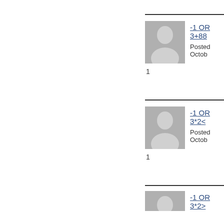[Figure (illustration): Default user avatar silhouette (grey person icon) for entry 1]
-1 OR 3+88
Posted Octob
1
[Figure (illustration): Default user avatar silhouette (grey person icon) for entry 2]
-1 OR 3*2<
Posted Octob
1
[Figure (illustration): Default user avatar silhouette (grey person icon) for entry 3 (partially visible)]
-1 OR 3*2>